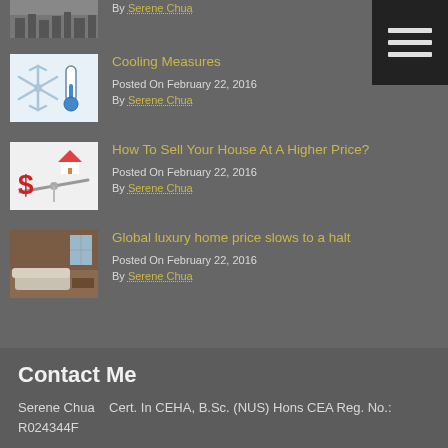By Serene Chua
Cooling Measures
Posted On February 22, 2016
By Serene Chua
How To Sell Your House At A Higher Price?
Posted On February 22, 2016
By Serene Chua
Global luxury home price slows to a halt
Posted On February 22, 2016
By Serene Chua
Contact Me
Serene Chua    Cert. In CEHA, B.Sc. (NUS) Hons CEA Reg. No.: R024344F